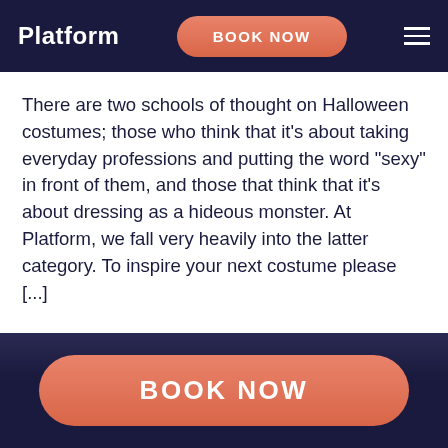Platform  BOOK NOW
There are two schools of thought on Halloween costumes; those who think that it's about taking everyday professions and putting the word “sexy” in front of them, and those that think that it's about dressing as a hideous monster. At Platform, we fall very heavily into the latter category. To inspire your next costume please [...]
READ
BOOK NOW